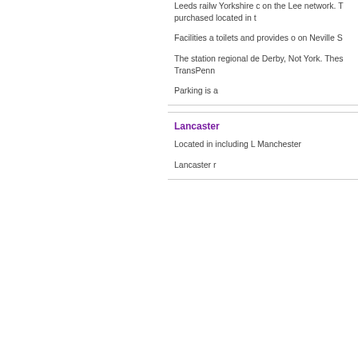Leeds railw Yorkshire c on the Lee network. T purchased located in t
Facilities a toilets and provides o on Neville S
The station regional de Derby, Not York. Thes TransPenn
Parking is a
Lancaster
Located in including L Manchester
Lancaster r